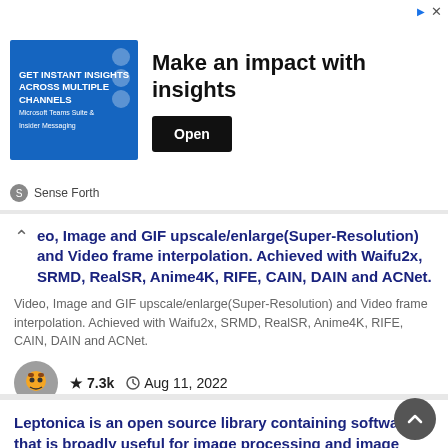[Figure (other): Advertisement banner for 'Make an impact with insights' by Sense Forth with an Open button]
eo, Image and GIF upscale/enlarge(Super-Resolution) and Video frame interpolation. Achieved with Waifu2x, SRMD, RealSR, Anime4K, RIFE, CAIN, DAIN and ACNet.
Video, Image and GIF upscale/enlarge(Super-Resolution) and Video frame interpolation. Achieved with Waifu2x, SRMD, RealSR, Anime4K, RIFE, CAIN, DAIN and ACNet.
★ 7.3k   Aug 11, 2022
Leptonica is an open source library containing software that is broadly useful for image processing and image analysis applications. The official github repository for Leptonica is: danbloomberg/leptonica. See leptonica.org for more documentation and recent releases.